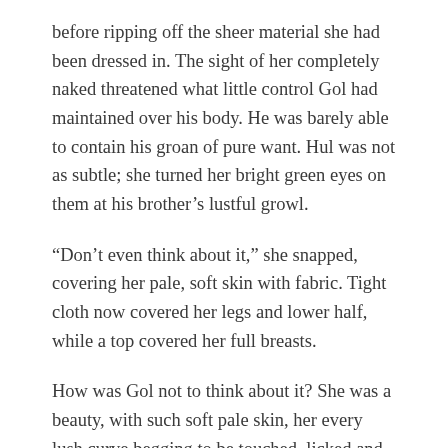before ripping off the sheer material she had been dressed in. The sight of her completely naked threatened what little control Gol had maintained over his body. He was barely able to contain his groan of pure want. Hul was not as subtle; she turned her bright green eyes on them at his brother’s lustful growl.
“Don’t even think about it,” she snapped, covering her pale, soft skin with fabric. Tight cloth now covered her legs and lower half, while a top covered her full breasts.
How was Gol not to think about it? She was a beauty, with such soft pale skin, her every lush curve begging to be touched, licked and explored, until she writhed under his touch and begged them to sink their hard rods into her. There was no way to control such thoughts.
Everything and everyone else be dammed to the ice.